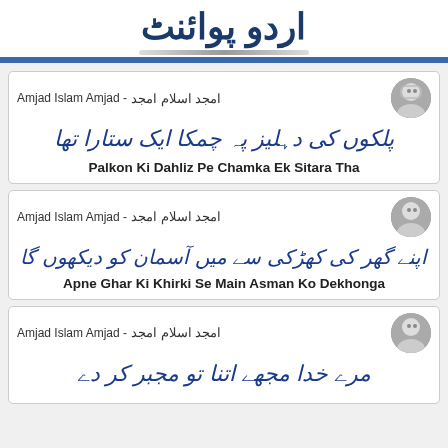اردو پوائنٹ
امجد اسلام امجد - Amjad Islam Amjad
پلکوں کی دہلیز پہ چمکا ایک ستارا تھا
Palkon Ki Dahliz Pe Chamka Ek Sitara Tha
امجد اسلام امجد - Amjad Islam Amjad
اپنے گھر کی کھڑکی سے میں آسمان کو دیکھوں گا
Apne Ghar Ki Khirki Se Main Asman Ko Dekhonga
امجد اسلام امجد - Amjad Islam Amjad
مرے خدا مجھے اتنا تو مجبر کر دے